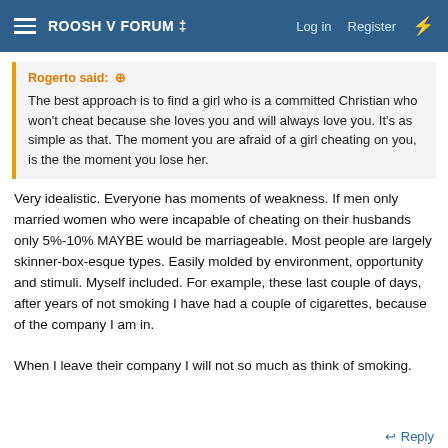ROOSH V FORUM ‡  Log in  Register
Rogerto said: ⊕
The best approach is to find a girl who is a committed Christian who won't cheat because she loves you and will always love you. It's as simple as that. The moment you are afraid of a girl cheating on you, is the the moment you lose her.
Very idealistic. Everyone has moments of weakness. If men only married women who were incapable of cheating on their husbands only 5%-10% MAYBE would be marriageable. Most people are largely skinner-box-esque types. Easily molded by environment, opportunity and stimuli. Myself included. For example, these last couple of days, after years of not smoking I have had a couple of cigarettes, because of the company I am in.

When I leave their company I will not so much as think of smoking.
↩ Reply